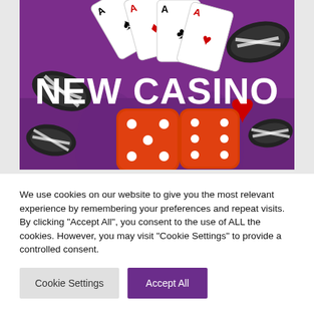[Figure (illustration): Casino themed banner with purple background, playing cards (four aces), black and white poker chips, two red dice, and large white bold text reading NEW CASINO]
We use cookies on our website to give you the most relevant experience by remembering your preferences and repeat visits. By clicking "Accept All", you consent to the use of ALL the cookies. However, you may visit "Cookie Settings" to provide a controlled consent.
Cookie Settings
Accept All